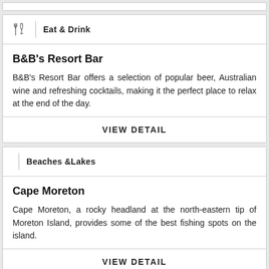Eat & Drink
B&B's Resort Bar
B&B's Resort Bar offers a selection of popular beer, Australian wine and refreshing cocktails, making it the perfect place to relax at the end of the day.
VIEW DETAIL
Beaches &Lakes
Cape Moreton
Cape Moreton, a rocky headland at the north-eastern tip of Moreton Island, provides some of the best fishing spots on the island.
VIEW DETAIL